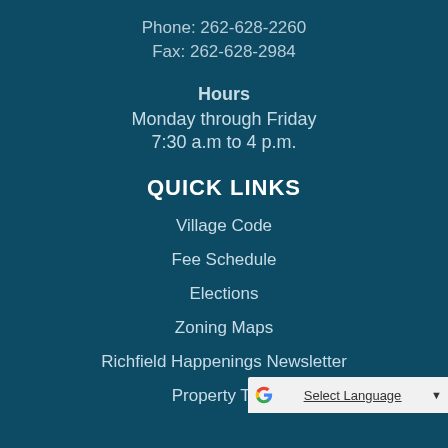Phone: 262-628-2260
Fax: 262-628-2984
Hours
Monday through Friday
7:30 a.m to 4 p.m.
QUICK LINKS
Village Code
Fee Schedule
Elections
Zoning Maps
Richfield Happenings Newsletter
Property Taxes